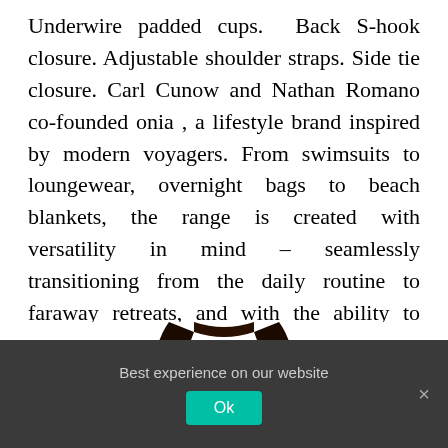Underwire padded cups. Back S-hook closure. Adjustable shoulder straps. Side tie closure. Carl Cunow and Nathan Romano co-founded onia , a lifestyle brand inspired by modern voyagers. From swimsuits to loungewear, overnight bags to beach blankets, the range is created with versatility in mind – seamlessly transitioning from the daily routine to faraway retreats, and with the ability to beautifully withstand the
[Figure (photo): Portrait photo of a young woman with long dark hair, wearing earrings, cropped at the shoulders against a white background]
Best experience on our website
Ok